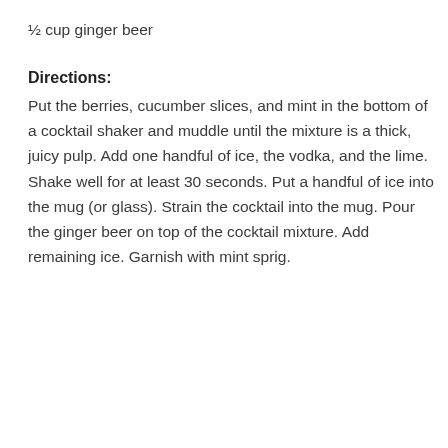½ cup ginger beer
Directions:
Put the berries, cucumber slices, and mint in the bottom of a cocktail shaker and muddle until the mixture is a thick, juicy pulp. Add one handful of ice, the vodka, and the lime. Shake well for at least 30 seconds. Put a handful of ice into the mug (or glass). Strain the cocktail into the mug. Pour the ginger beer on top of the cocktail mixture. Add remaining ice. Garnish with mint sprig.